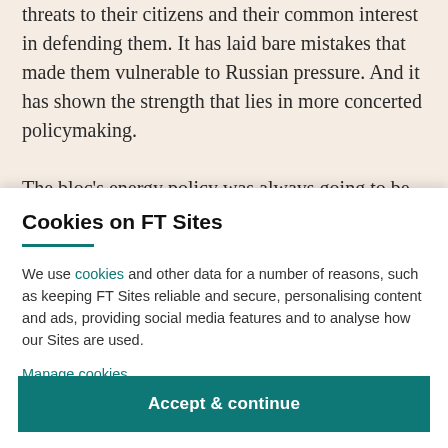threats to their citizens and their common interest in defending them. It has laid bare mistakes that made them vulnerable to Russian pressure. And it has shown the strength that lies in more concerted policymaking.

The bloc's energy policy was always going to be the focus of such
Cookies on FT Sites
We use cookies and other data for a number of reasons, such as keeping FT Sites reliable and secure, personalising content and ads, providing social media features and to analyse how our Sites are used.
Manage cookies
Accept & continue